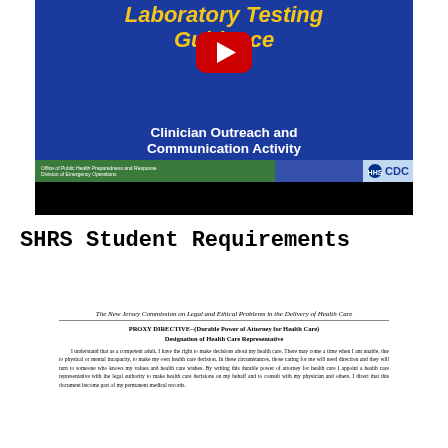[Figure (screenshot): YouTube video thumbnail showing a CDC COCA Call presentation slide titled 'Laboratory Testing Guidance - Clinician Outreach and Communication Activity (COCA) Call, December 1, 2016' with a YouTube play button overlay on a blue background]
SHRS Student Requirements
[Figure (screenshot): Scanned document image showing a New Jersey Commission on Legal and Ethical Problems in the Delivery of Health Care form - PROXY DIRECTIVE (Durable Power of Attorney for Health Care) Designation of Health Care Representative, with introductory paragraph text]